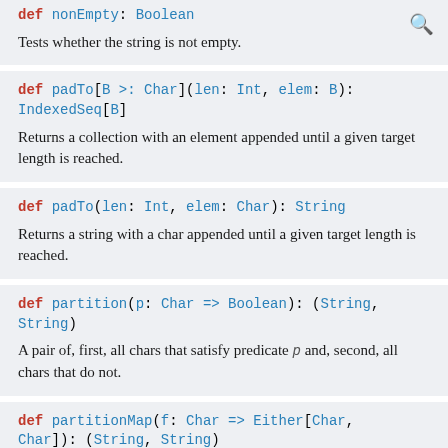def nonEmpty: Boolean
Tests whether the string is not empty.
def padTo[B >: Char](len: Int, elem: B): IndexedSeq[B]
Returns a collection with an element appended until a given target length is reached.
def padTo(len: Int, elem: Char): String
Returns a string with a char appended until a given target length is reached.
def partition(p: Char => Boolean): (String, String)
A pair of, first, all chars that satisfy predicate p and, second, all chars that do not.
def partitionMap(f: Char => Either[Char, Char]): (String, String)
Applies a function f to each character of the string and returns a pair of strings: the first one made of those characters returned by f that were wrapped in...